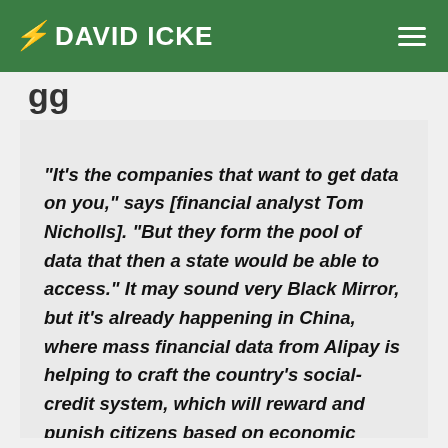DAVID ICKE
“It’s the companies that want to get data on you,” says [financial analyst Tom Nicholls]. “But they form the pool of data that then a state would be able to access.” It may sound very Black Mirror, but it’s already happening in China, where mass financial data from Alipay is helping to craft the country’s social-credit system, which will reward and punish citizens based on economic behaviour.